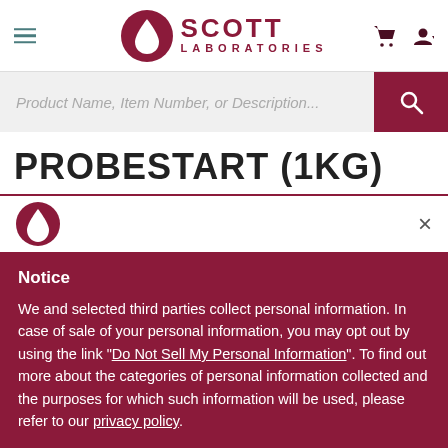[Figure (logo): Scott Laboratories logo with red circle containing a water drop icon and 'SCOTT LABORATORIES' text in dark red]
Product Name, Item Number, or Description...
PROBESTART (1KG)
[Figure (logo): Scott Laboratories small water drop logo icon in red circle]
Notice
We and selected third parties collect personal information. In case of sale of your personal information, you may opt out by using the link "Do Not Sell My Personal Information". To find out more about the categories of personal information collected and the purposes for which such information will be used, please refer to our privacy policy.